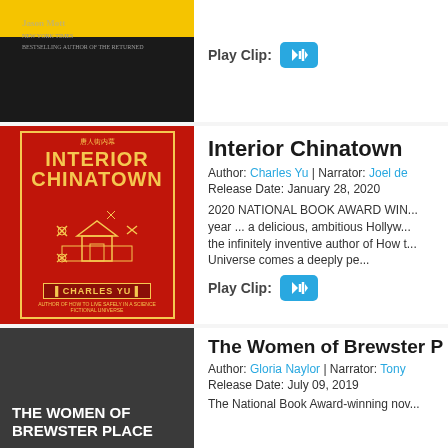[Figure (photo): Book cover for a Jason Mott title with yellow and dark background]
Play Clip:
[Figure (other): Play Clip audio player button in cyan/blue]
Interior Chinatown
Author: Charles Yu | Narrator: Joel de
Release Date: January 28, 2020
2020 NATIONAL BOOK AWARD WIN... year ... a delicious, ambitious Hollyw... the infinitely inventive author of How t... Universe comes a deeply pe...
Play Clip:
[Figure (other): Play Clip audio player button in cyan/blue]
[Figure (photo): Book cover for Interior Chinatown by Charles Yu — red cover with yellow text and pagoda illustration]
The Women of Brewster P
[Figure (photo): Book cover for The Women of Brewster Place — dark gray cover with white text]
Author: Gloria Naylor | Narrator: Tony...
Release Date: July 09, 2019
The National Book Award-winning nov...